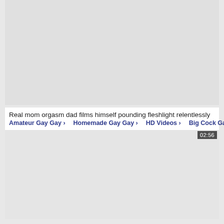[Figure (screenshot): Video thumbnail placeholder - grey rectangle]
Real mom orgasm dad films himself pounding fleshlight relentlessly
Amateur Gay Gay › Homemade Gay Gay › HD Videos › Big Cock Gay ›
[Figure (screenshot): Second video thumbnail placeholder - grey rectangle with duration badge 02:56]
02:56